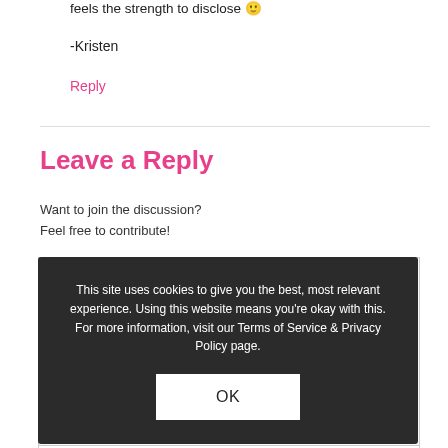feels the strength to disclose 🙂
-Kristen
Reply
Leave a Reply
Want to join the discussion?
Feel free to contribute!
This site uses cookies to give you the best, most relevant experience. Using this website means you're okay with this. For more information, visit our Terms of Service & Privacy Policy page.
OK
Name *
Email
Website